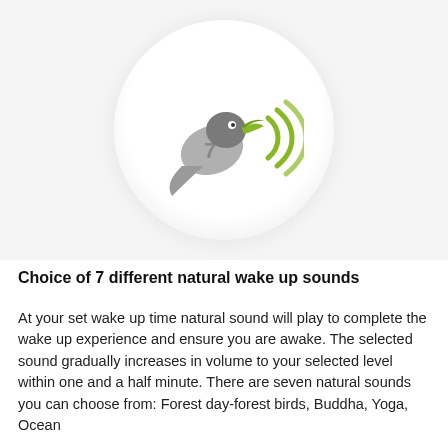[Figure (illustration): A circular icon with a light gray gradient background showing a stylized bird (in gray) with a green beak/head emitting green sound waves to the right, and a '7' visible on the bird's body. The circle has a subtle radial gradient from white center to light gray edges.]
Choice of 7 different natural wake up sounds
At your set wake up time natural sound will play to complete the wake up experience and ensure you are awake. The selected sound gradually increases in volume to your selected level within one and a half minute. There are seven natural sounds you can choose from: Forest day-forest birds, Buddha, Yoga, Ocean